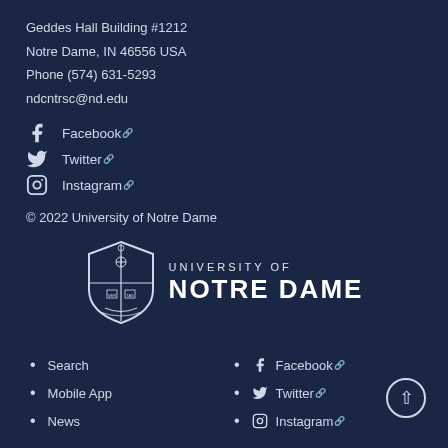Geddes Hall Building #1212
Notre Dame, IN 46556 USA
Phone (574) 631-5293
ndcntrsc@nd.edu
Facebook
Twitter
Instagram
© 2022 University of Notre Dame
[Figure (logo): University of Notre Dame shield logo with crest]
Search
Mobile App
News
Facebook
Twitter
Instagram